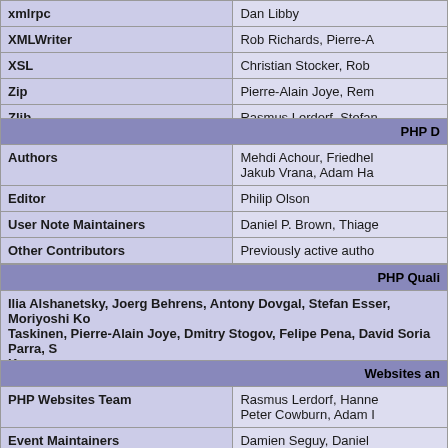| xmlrpc | Dan Libby |
| XMLWriter | Rob Richards, Pierre-A |
| XSL | Christian Stocker, Rob |
| Zip | Pierre-Alain Joye, Rem |
| Zlib | Rasmus Lerdorf, Stefan |
| PHP D |
| --- |
| Authors | Mehdi Achour, Friedhel
Jakub Vrana, Adam Ha |
| Editor | Philip Olson |
| User Note Maintainers | Daniel P. Brown, Thiage |
| Other Contributors | Previously active autho |
| PHP Quali |
| --- |
| Ilia Alshanetsky, Joerg Behrens, Antony Dovgal, Stefan Esser, Moriyoshi Ko
Taskinen, Pierre-Alain Joye, Dmitry Stogov, Felipe Pena, David Soria Parra, S
Kovacs |  |
| Websites an |
| --- |
| PHP Websites Team | Rasmus Lerdorf, Hanne
Peter Cowburn, Adam I |
| Event Maintainers | Damien Seguy, Daniel |
| Network Infrastructure | Daniel P. Brown |